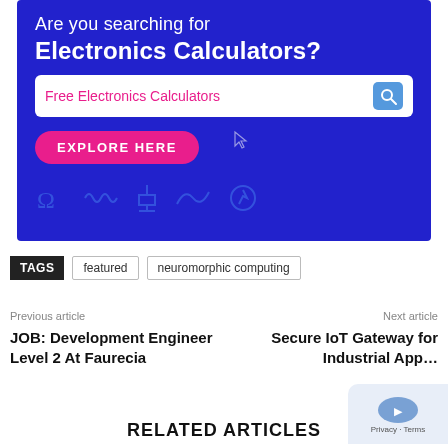[Figure (infographic): Blue advertisement banner for Electronics Calculators website. Contains headline 'Are you searching for Electronics Calculators?', a search bar reading 'Free Electronics Calculators' with a magnifying glass icon, a pink 'EXPLORE HERE' button, and faint electronics symbols (omega, inductor, transistor, wave, generator) at the bottom.]
TAGS   featured   neuromorphic computing
Previous article
JOB: Development Engineer Level 2 At Faurecia
Next article
Secure IoT Gateway for Industrial App…
RELATED ARTICLES